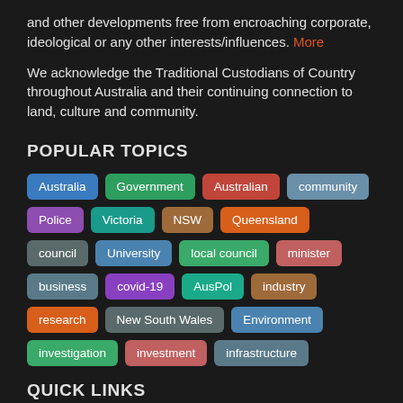and other developments free from encroaching corporate, ideological or any other interests/influences. More
We acknowledge the Traditional Custodians of Country throughout Australia and their continuing connection to land, culture and community.
POPULAR TOPICS
Australia
Government
Australian
community
Police
Victoria
NSW
Queensland
council
University
local council
minister
business
covid-19
AusPol
industry
research
New South Wales
Environment
investigation
investment
infrastructure
QUICK LINKS